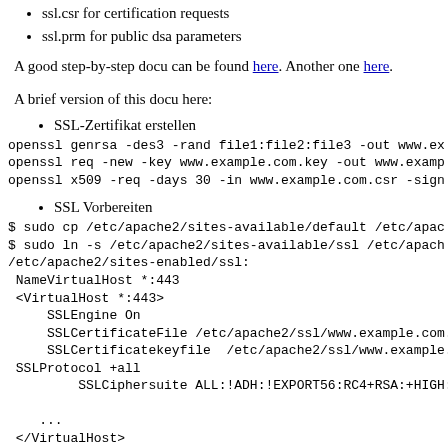ssl.csr for certification requests
ssl.prm for public dsa parameters
A good step-by-step docu can be found here. Another one here.
A brief version of this docu here:
SSL-Zertifikat erstellen
openssl genrsa -des3 -rand file1:file2:file3 -out www.ex
openssl req -new -key www.example.com.key -out www.examp
openssl x509 -req -days 30 -in www.example.com.csr -sign
SSL Vorbereiten
$ sudo cp /etc/apache2/sites-available/default /etc/apac
$ sudo ln -s /etc/apache2/sites-available/ssl /etc/apach
/etc/apache2/sites-enabled/ssl:
 NameVirtualHost *:443
 <VirtualHost *:443>
     SSLEngine On
     SSLCertificateFile /etc/apache2/ssl/www.example.com.c
     SSLCertificatekeyfile  /etc/apache2/ssl/www.example.c
 SSLProtocol +all
         SSLCiphersuite ALL:!ADH:!EXPORT56:RC4+RSA:+HIGH:-

    ...
 </VirtualHost>
/etc/apache2/ports.conf :